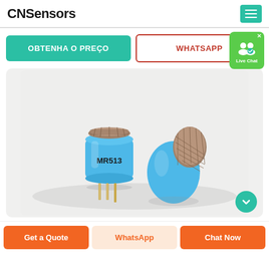CNSensors
OBTENHA O PREÇO
WHATSAPP
Live Chat
[Figure (photo): Two blue cylindrical gas sensors labeled MR513 with metal mesh tops and gold pins at bottom, photographed on white/light gray background.]
Get a Quote
WhatsApp
Chat Now